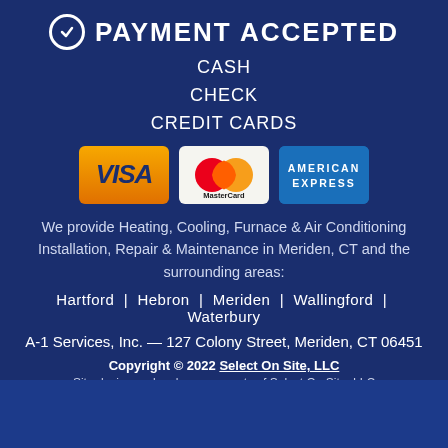PAYMENT ACCEPTED
CASH
CHECK
CREDIT CARDS
[Figure (logo): Credit card logos: VISA, MasterCard, American Express]
We provide Heating, Cooling, Furnace & Air Conditioning Installation, Repair & Maintenance in Meriden, CT and the surrounding areas:
Hartford  |  Hebron  |  Meriden  |  Wallingford  |  Waterbury
A-1 Services, Inc. — 127 Colony Street, Meriden, CT 06451
Copyright © 2022 Select On Site, LLC
Site design and code are property of Select On Site, LLC
Product logos and images are the property of their respective manufacturers